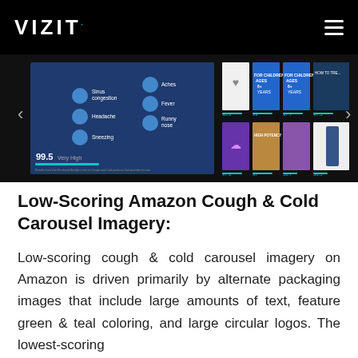VIZIT
[Figure (screenshot): VIZIT platform carousel screenshot showing Amazon cough & cold product imagery with scores. Left side shows a product detail page with symptoms icons (Sinus congestion, Fever, Headache, Runny nose, Sneezing, Aches) scored 99.5 Very High. Right side shows a grid of product carousel images with scores: 98.2, 99 (approx), 97.7, 97.5 in top row; 97.2, 97, 56.7, 56.5 in bottom row.]
Low-Scoring Amazon Cough & Cold Carousel Imagery:
Low-scoring cough & cold carousel imagery on Amazon is driven primarily by alternate packaging images that include large amounts of text, feature green & teal coloring, and large circular logos. The lowest-scoring